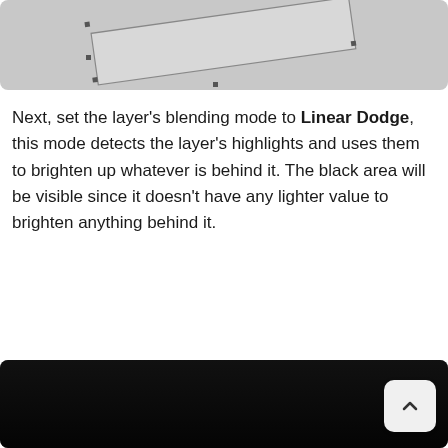[Figure (screenshot): Screenshot of a graphics editor showing a tilted rectangle with selection handles on a light gray background.]
Next, set the layer's blending mode to Linear Dodge, this mode detects the layer's highlights and uses them to brighten up whatever is behind it. The black area will be visible since it doesn't have any lighter value to brighten anything behind it.
[Figure (screenshot): Screenshot showing a very dark/black image canvas in a graphics editor.]